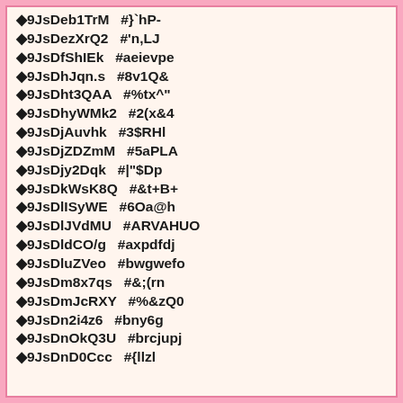◆9JsDeb1TrM  #}`hP-
◆9JsDezXrQ2  #'n,LJ
◆9JsDfShIEk  #aeievpe
◆9JsDhJqn.s  #8v1Q&
◆9JsDht3QAA  #%tx^"
◆9JsDhyWMk2  #2(x&4
◆9JsDjAuvhk  #3$RHl
◆9JsDjZDZmM  #5aPLA
◆9JsDjy2Dqk  #|"$Dp
◆9JsDkWsK8Q  #&t+B+
◆9JsDlISyWE  #6Oa@h
◆9JsDlJVdMU  #ARVAHUO
◆9JsDldCO/g  #axpdfdj
◆9JsDluZVeo  #bwgwefo
◆9JsDm8x7qs  #&;(rn
◆9JsDmJcRXY  #%&zQ0
◆9JsDn2i4z6  #bny6g
◆9JsDnOkQ3U  #brcjupj
◆9JsDnD0Ccc  #{llzl